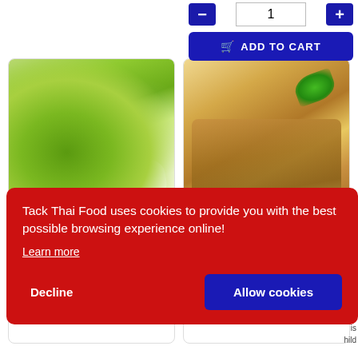[Figure (screenshot): Add to cart UI with quantity stepper (minus, 1, plus) and blue ADD TO CART button with cart icon]
[Figure (photo): Green seeds/split peas in a white dish on a product card]
[Figure (photo): Tamarind pods with green leaf on a product card]
Tack Thai Food uses cookies to provide you with the best possible browsing experience online!
Learn more
Decline
Allow cookies
ni is
is
hild